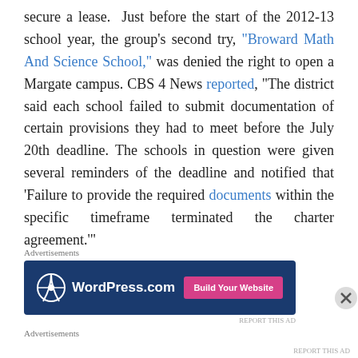secure a lease. Just before the start of the 2012-13 school year, the group's second try, "Broward Math And Science School," was denied the right to open a Margate campus. CBS 4 News reported, "The district said each school failed to submit documentation of certain provisions they had to meet before the July 20th deadline. The schools in question were given several reminders of the deadline and notified that 'Failure to provide the required documents within the specific timeframe terminated the charter agreement.'"
[Figure (other): WordPress.com advertisement banner with logo and 'Build Your Website' button on a dark blue background]
Advertisements
Advertisements